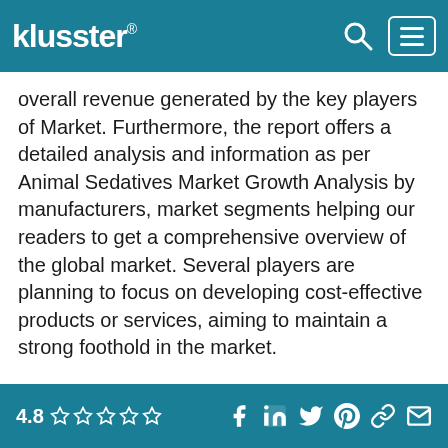klusster®
overall revenue generated by the key players of Market. Furthermore, the report offers a detailed analysis and information as per Animal Sedatives Market Growth Analysis by manufacturers, market segments helping our readers to get a comprehensive overview of the global market. Several players are planning to focus on developing cost-effective products or services, aiming to maintain a strong foothold in the market.
COVID-19 can affect the global economy in three main ways: by directly affecting production and demand, by creating supply chain and market disruption, and by its financial impact on firms and financial markets. The outbreak of COVID-19 has
4.8 ☆☆☆☆☆